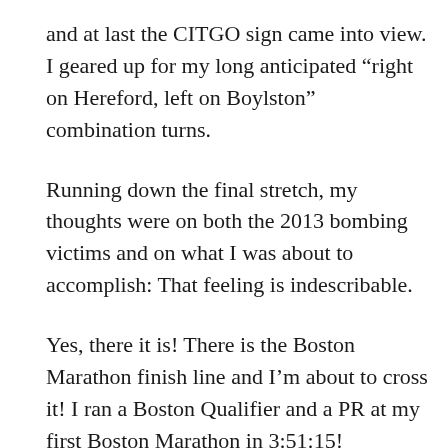and at last the CITGO sign came into view. I geared up for my long anticipated “right on Hereford, left on Boylston” combination turns.
Running down the final stretch, my thoughts were on both the 2013 bombing victims and on what I was about to accomplish: That feeling is indescribable.
Yes, there it is! There is the Boston Marathon finish line and I’m about to cross it! I ran a Boston Qualifier and a PR at my first Boston Marathon in 3:51:15!